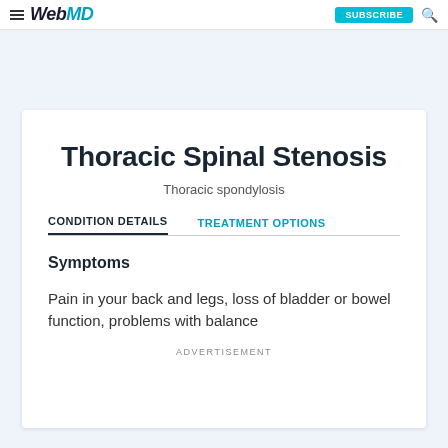WebMD — SUBSCRIBE
Thoracic Spinal Stenosis
Thoracic spondylosis
CONDITION DETAILS | TREATMENT OPTIONS
Symptoms
Pain in your back and legs, loss of bladder or bowel function, problems with balance
ADVERTISEMENT